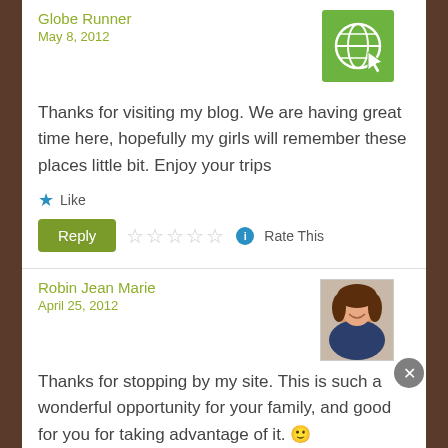Globe Runner
May 8, 2012
[Figure (illustration): Green square avatar with globe and cursor icon]
Thanks for visiting my blog. We are having great time here, hopefully my girls will remember these places little bit. Enjoy your trips
★ Like
Reply | ☆☆☆☆☆ ℹ Rate This
Robin Jean Marie
April 25, 2012
[Figure (photo): Profile photo of a woman with brown hair smiling]
Thanks for stopping by my site. This is such a wonderful opportunity for your family, and good for you for taking advantage of it. 🙂
Advertisements
[Figure (screenshot): WordPress.com advertisement banner with Build Your Website button]